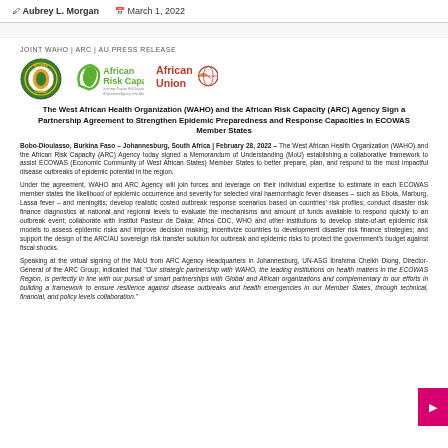Aubrey L. Morgan   March 1, 2022
JOINT WAHO | ARC | AU PRESS RELEASE
[Figure (logo): Three logos: ECOWAS/CEDEAO circular logo, African Risk Capacity (ARC) logo, African Union logo]
The West African Health Organization (WAHO) and the African Risk Capacity (ARC) Agency Sign a Partnership Agreement to Strengthen Epidemic Preparedness and Response Capacities in ECOWAS Member States
Bobo-Dioulasso, Burkina Faso – Johannesburg, South Africa | February 28, 2022 – The West African Health Organization (WAHO) and the African Risk Capacity (ARC) Agency today signed a Memorandum of Understanding (MoU) establishing a collaborative framework to assist ECOWAS (Economic Community of West African States) Member States to better prepare, plan, and respond to the most impactful disease outbreaks of epidemic potential in the region.
Under the agreement, WAHO and ARC Agency will join forces and leverage on their individual expertise to estimate in each ECOWAS member states the likelihood of epidemic occurrence and severity for selected viral haemorrhagic fever diseases – such as Ebola, Marburg, Lassa fever – and meningitis; develop realistic costed outbreak response scenarios based on countries' risk profiles; conduct disaster risk finance diagnostics at national and regional levels to evaluate the mechanisms and amount of funds available to respond quickly to an outbreak event; collaborate with Institut Pasteur de Dakar, Africa CDC, WHO and other institutions to develop state-of-art epidemic risk models to assess epidemic risks and improve decision making; incentivize countries to development disaster risk finance strategies; and support the design of the ARC/AU sovereign risk transfer solution for outbreak and epidemic risks to protect the government's budget against fiscal shocks.
Speaking at the virtual signing of the MoU from ARC Agency Headquarters in Johannesburg, UN-ASG Ibrahima Cheikh Diong, Director-General of the ARC Group, indicated that "Our strategic partnership with WAHO, the leading institutions on health matters in the ECOWAS Region, is perfectly in line with our pursuit of smart partnerships with Global and African organizations and complementary to our efforts in building a framework to ensure resilience against disease outbreaks and health emergencies in our Member States, through technical, financial, and policy levels collaboration."